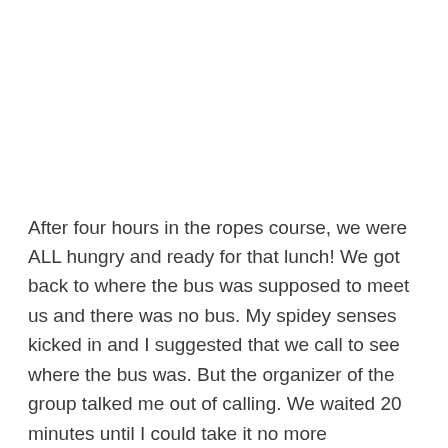After four hours in the ropes course, we were ALL hungry and ready for that lunch! We got back to where the bus was supposed to meet us and there was no bus. My spidey senses kicked in and I suggested that we call to see where the bus was. But the organizer of the group talked me out of calling. We waited 20 minutes until I could take it no more